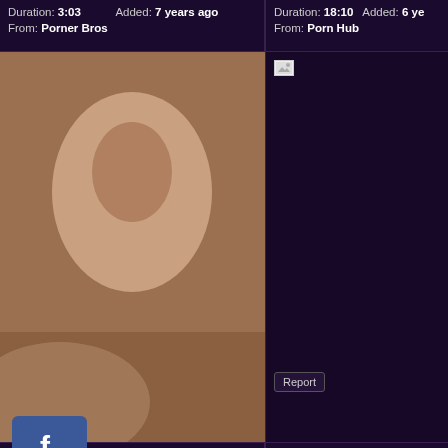Duration: 3:03   Added: 7 years ago
From: Porner Bros
Duration: 18:10   Added: 6 years ago
From: Porn Hub
[Figure (photo): Video thumbnail - adult content]
[Figure (photo): Dark panel with broken image icon and Report button]
SHIONE COOPER, TERRY A & KATERINA HARTLOVA
School of Surrender
Duration: 120:05   Added: 4 years ago
From: Porn Hub
Duration: 93:48   Added: 8 years ago
From: xHamster
[Figure (photo): Group yoga/fitness class thumbnail]
[Figure (photo): Woman outdoors with earmuffs thumbnail]